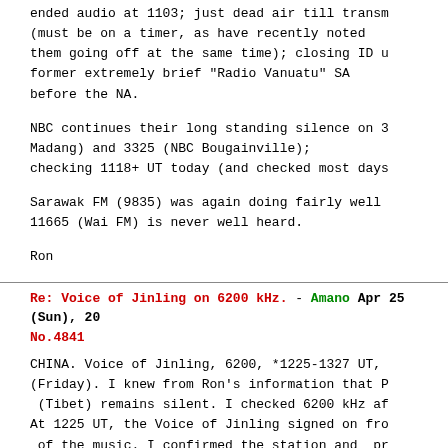ended audio at 1103; just dead air till transm (must be on a timer, as have recently noted them going off at the same time); closing ID u former extremely brief "Radio Vanuatu" SA before the NA.

NBC continues their long standing silence on 3 Madang) and 3325 (NBC Bougainville); checking 1118+ UT today (and checked most days

Sarawak FM (9835) was again doing fairly well 11665 (Wai FM) is never well heard.

Ron
Re: Voice of Jinling on 6200 kHz. - Amano Apr 25 (Sun), 20 No.4841
CHINA. Voice of Jinling, 6200, *1225-1327 UT, (Friday). I knew from Ron's information that P (Tibet) remains silent. I checked 6200 kHz af At 1225 UT, the Voice of Jinling signed on fro of the music. I confirmed the station and pr 1300 UT.
My audio (02:00; 1259'04" - 1301'04" UT) attac